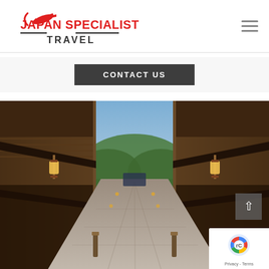[Figure (logo): Japan Specialist Travel logo with red airplane icon and text 'JAPAN SPECIALIST' in red, 'TRAVEL' in dark gray with decorative lines]
CONTACT US
[Figure (photo): Traditional Japanese street (Higashi Chaya district) at dusk with wooden machiya townhouses lining a stone-paved alley, glowing lanterns, green trees on hill in background]